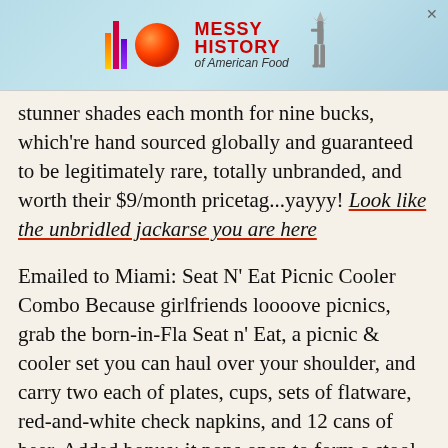[Figure (other): Advertisement banner for 'Messy History of American Food' featuring colorful bar chart logo, orange sphere, red text, and Statue of Liberty silhouette on light blue background]
stunner shades each month for nine bucks, which're hand sourced globally and guaranteed to be legitimately rare, totally unbranded, and worth their $9/month pricetag...yayyy! Look like the unbridled jackarse you are here
Emailed to Miami: Seat N' Eat Picnic Cooler Combo Because girlfriends loooove picnics, grab the born-in-Fla Seat n' Eat, a picnic & cooler set you can haul over your shoulder, and carry two each of plates, cups, sets of flatware, red-and-white check napkins, and 12 cans of beer. Added bonus: it pops open to form a stool, which includes the special dating safety feature of only supporting 250 lbs. Women be all picnicking...here